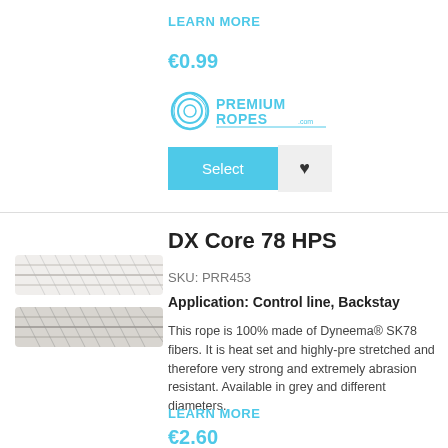LEARN MORE
€0.99
[Figure (logo): PremiumRopes.com logo with rope coil icon]
Select
DX Core 78 HPS
SKU: PRR453
Application: Control line, Backstay
[Figure (photo): Two rope samples showing white braided rope texture]
This rope is 100% made of Dyneema® SK78 fibers. It is heat set and highly-pre stretched and therefore very strong and extremely abrasion resistant. Available in grey and different diameters.
LEARN MORE
€2.60